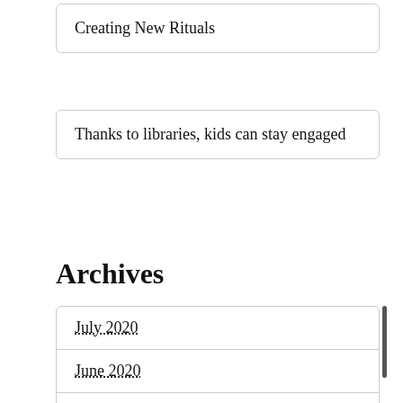Creating New Rituals
Thanks to libraries, kids can stay engaged
Archives
July 2020
June 2020
May 2020
April 2020
March 2020
February 2020